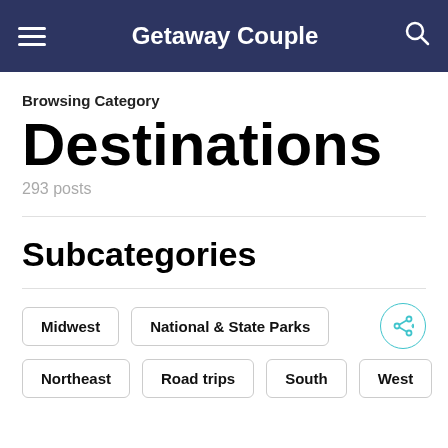Getaway Couple
Browsing Category
Destinations
293 posts
Subcategories
Midwest
National & State Parks
Northeast
Road trips
South
West